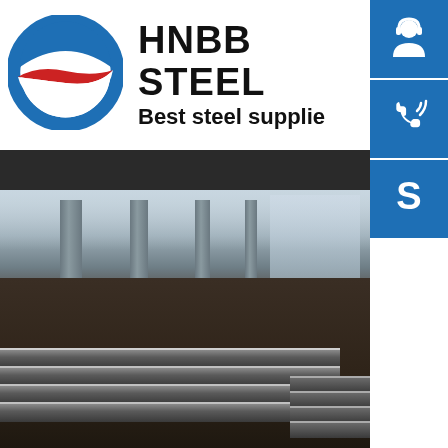[Figure (logo): HNBB Steel company logo: circular icon with blue top arc and red swoosh stripe, similar to Obama campaign logo style]
HNBB STEEL
Best steel supplie
[Figure (photo): Industrial warehouse interior with steel plates stacked on the floor, large space with pillars and foggy background]
[Figure (illustration): Blue square icon with white customer service headset person silhouette]
[Figure (illustration): Blue square icon with white telephone/call icon with signal waves]
[Figure (illustration): Blue square icon with white Skype logo 'S']